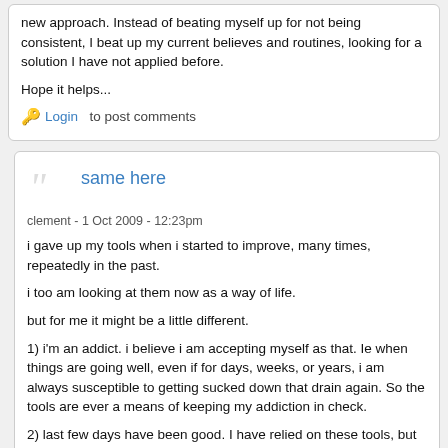new approach. Instead of beating myself up for not being consistent, I beat up my current believes and routines, looking for a solution I have not applied before.
Hope it helps...
🔑 Login  to post comments
same here
clement - 1 Oct 2009 - 12:23pm
i gave up my tools when i started to improve, many times, repeatedly in the past.
i too am looking at them now as a way of life.
but for me it might be a little different.
1) i'm an addict. i believe i am accepting myself as that. Ie when things are going well, even if for days, weeks, or years, i am always susceptible to getting sucked down that drain again. So the tools are ever a means of keeping my addiction in check.
2) last few days have been good. I have relied on these tools, but in an even deeper way, i've relied on god as the source of my motivation and strength to do the tools, even when i don't feel it. And i am thinking i will try this i...